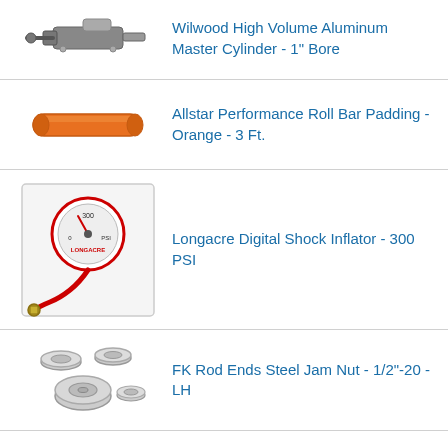Wilwood High Volume Aluminum Master Cylinder - 1" Bore
Allstar Performance Roll Bar Padding - Orange - 3 Ft.
Longacre Digital Shock Inflator - 300 PSI
FK Rod Ends Steel Jam Nut - 1/2"-20 - LH